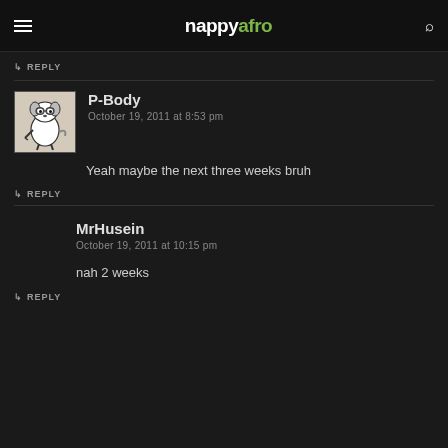nappyafro
↳ REPLY
P-Body
October 19, 2011 at 8:53 pm
Yeah maybe the next three weeks bruh
↳ REPLY
MrHusein
October 19, 2011 at 10:15 pm
nah 2 weeks
↳ REPLY